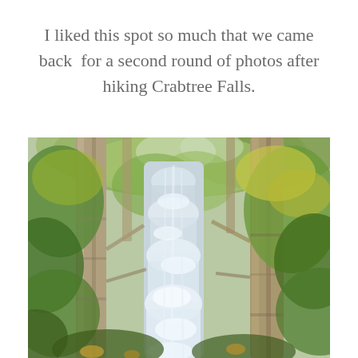I liked this spot so much that we came back for a second round of photos after hiking Crabtree Falls.
[Figure (photo): A waterfall viewed through trees in a lush green forest. The cascade of white water is framed by tall tree trunks, with green and yellow foliage filling the background. Natural outdoor photography with soft, muted tones.]